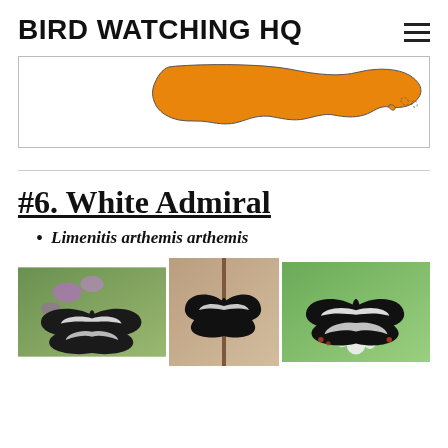BIRD WATCHING HQ
[Figure (map): Map of North America with southern/southeastern USA and Caribbean region highlighted in orange, showing butterfly range.]
#6. White Admiral
Limenitis arthemis arthemis
[Figure (photo): Three photos of White Admiral butterflies (Limenitis arthemis arthemis) with black wings and white banding, shown from above on flowers and foliage.]